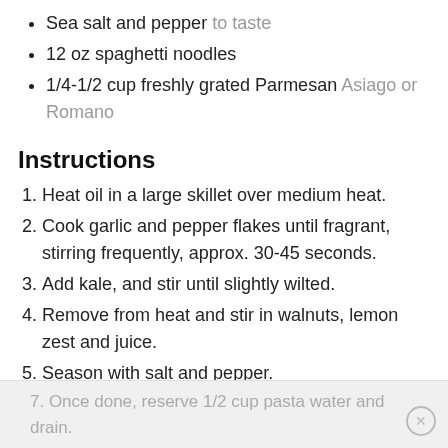Sea salt and pepper to taste
12 oz spaghetti noodles
1/4-1/2 cup freshly grated Parmesan Asiago or Romano
Instructions
Heat oil in a large skillet over medium heat.
Cook garlic and pepper flakes until fragrant, stirring frequently, approx. 30-45 seconds.
Add kale, and stir until slightly wilted.
Remove from heat and stir in walnuts, lemon zest and juice.
Season with salt and pepper.
Meanwhile, cook pasta in well-salted water according to package directions.
Once done, reserve 1/2 cup pasta water and drain.